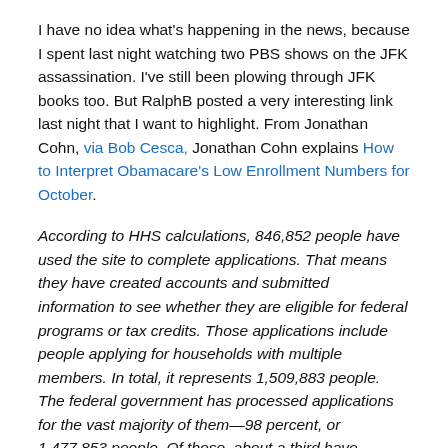I have no idea what's happening in the news, because I spent last night watching two PBS shows on the JFK assassination. I've still been plowing through JFK books too. But RalphB posted a very interesting link last night that I want to highlight. From Jonathan Cohn, via Bob Cesca, Jonathan Cohn explains How to Interpret Obamacare's Low Enrollment Numbers for October.
According to HHS calculations, 846,852 people have used the site to complete applications. That means they have created accounts and submitted information to see whether they are eligible for federal programs or tax credits. Those applications include people applying for households with multiple members. In total, it represents 1,509,883 people. The federal government has processed applications for the vast majority of them—98 percent, or 1,477,853 people. Of those, about a third have actually